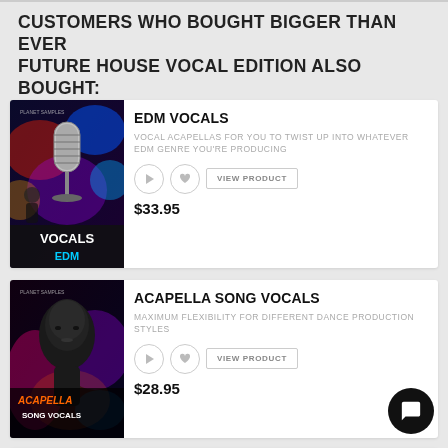CUSTOMERS WHO BOUGHT BIGGER THAN EVER FUTURE HOUSE VOCAL EDITION ALSO BOUGHT:
[Figure (illustration): EDM Vocals product cover art with a vintage microphone and dancer on dark background with colorful lights, text VOCALS EDM]
EDM VOCALS
VOCAL ACAPELLAS FOR YOU TO TWIST UP INTO WHATEVER EDM GENRE YOU'RE PRODUCING
$33.95
[Figure (illustration): Acapella Song Vocals product cover art with a face painted in metallic dark tones on a colorful background, text ACAPELLA SONG VOCALS]
ACAPELLA SONG VOCALS
MAXIMUM FLEXIBILITY FOR DIFFERENT DANCE PRODUCTION STYLES
$28.95
[Figure (illustration): Future Bass Vocalism Apollo Sound product cover art thumbnail]
FUTURE BASS VOCALISM